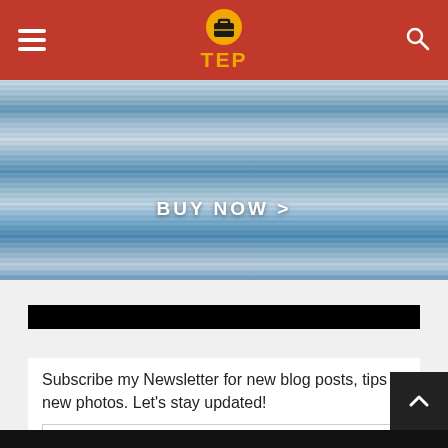TEP
[Figure (screenshot): Blue water ripple banner image with 'BUY NOW >' text overlay in white]
Subscrible
Subscribe my Newsletter for new blog posts, tips & new photos. Let's stay updated!
Name...
Email...